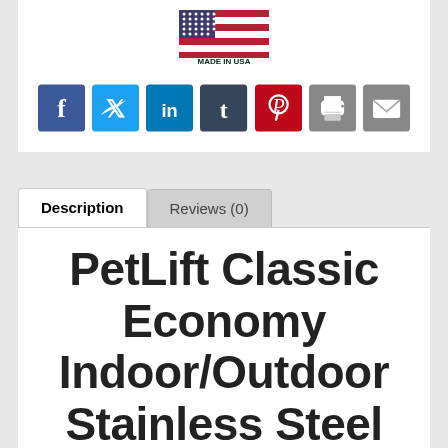[Figure (logo): Made in USA badge with American flag graphic]
[Figure (infographic): Row of social media sharing icons: Facebook (blue), Twitter (light blue), LinkedIn (blue), Tumblr (dark blue), Pinterest (red), Print (gray), Email (gray)]
Description | Reviews (0)
PetLift Classic Economy Indoor/Outdoor Stainless Steel Pet Bath